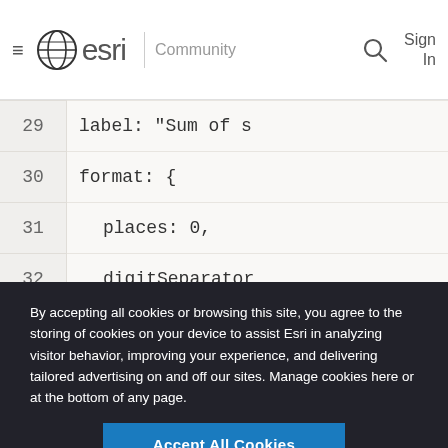esri Community | Sign In
[Figure (screenshot): Code editor showing lines 29-34 with JavaScript code: label: 'Sum of s', format: { places: 0, digitSeparator }, statisticType: 's']
By accepting all cookies or browsing this site, you agree to the storing of cookies on your device to assist Esri in analyzing visitor behavior, improving your experience, and delivering tailored advertising on and off our sites. Manage cookies here or at the bottom of any page.
Accept All Cookies
Cookies Settings